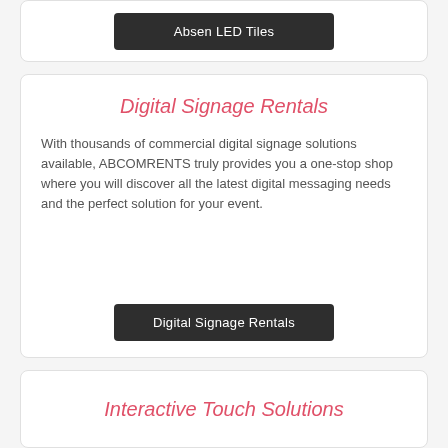Absen LED Tiles
Digital Signage Rentals
With thousands of commercial digital signage solutions available, ABCOMRENTS truly provides you a one-stop shop where you will discover all the latest digital messaging needs and the perfect solution for your event.
Digital Signage Rentals
Interactive Touch Solutions